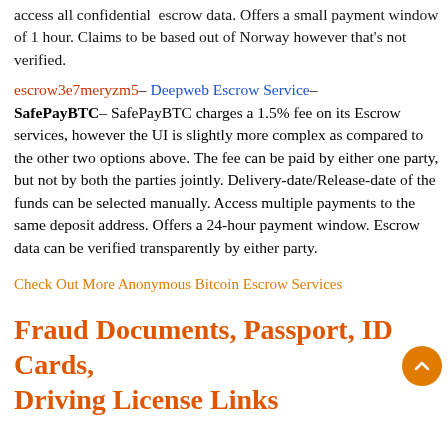access all confidential escrow data. Offers a small payment window of 1 hour. Claims to be based out of Norway however that's not verified.
escrow3e7meryzm5– Deepweb Escrow Service– SafePayBTC– SafePayBTC charges a 1.5% fee on its Escrow services, however the UI is slightly more complex as compared to the other two options above. The fee can be paid by either one party, but not by both the parties jointly. Delivery-date/Release-date of the funds can be selected manually. Access multiple payments to the same deposit address. Offers a 24-hour payment window. Escrow data can be verified transparently by either party.
Check Out More Anonymous Bitcoin Escrow Services
Fraud Documents, Passport, ID Cards, Driving License Links